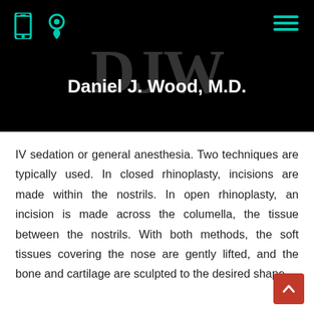Daniel J. Wood, M.D.
IV sedation or general anesthesia. Two techniques are typically used. In closed rhinoplasty, incisions are made within the nostrils. In open rhinoplasty, an incision is made across the columella, the tissue between the nostrils. With both methods, the soft tissues covering the nose are gently lifted, and the bone and cartilage are sculpted to the desired shape.